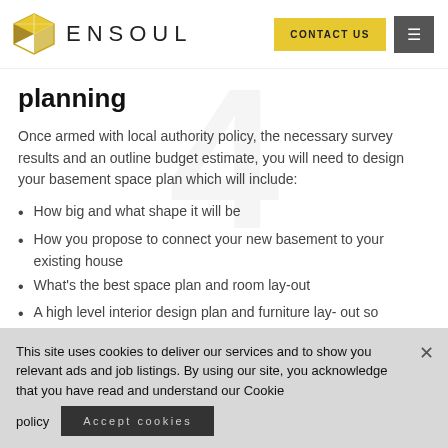ENSOUL | CONTACT US
planning
Once armed with local authority policy, the necessary survey results and an outline budget estimate, you will need to design your basement space plan which will include:
How big and what shape it will be
How you propose to connect your new basement to your existing house
What's the best space plan and room lay-out
A high level interior design plan and furniture lay- out so
This site uses cookies to deliver our services and to show you relevant ads and job listings. By using our site, you acknowledge that you have read and understand our Cookie policy
Accept cookies